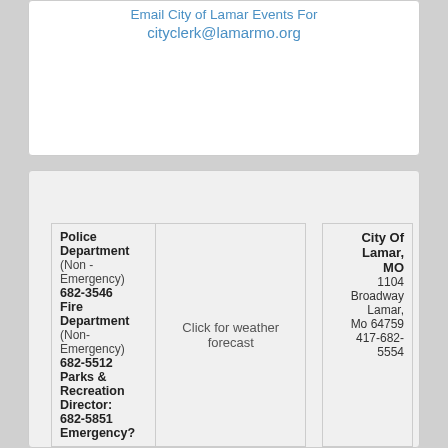Email City of Lamar Events For cityclerk@lamarmo.org
| Police/Fire/Parks Info | Weather | City Contact |
| --- | --- | --- |
| Police Department (Non - Emergency) 682-3546 Fire Department (Non-Emergency) 682-5512 Parks & Recreation Director: 682-5851 Emergency? | Click for weather forecast | City Of Lamar, MO 1104 Broadway Lamar, Mo 64759 417-682-5554 |